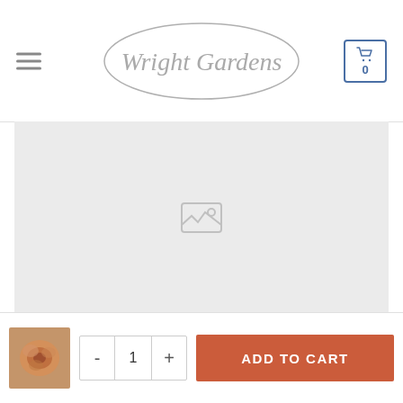Wright Gardens
[Figure (photo): Product image placeholder with broken image icon on light gray background]
[Figure (photo): Small thumbnail image of a flower/rose]
- 1 +
ADD TO CART